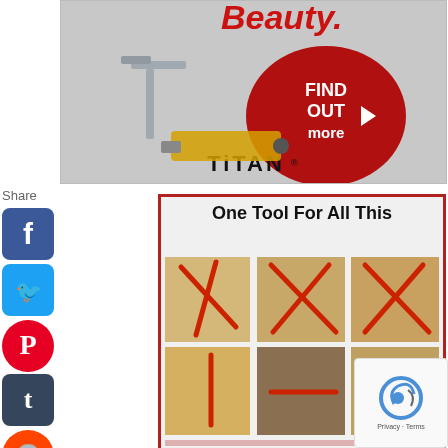[Figure (photo): Top advertisement banner showing a metal bracket/post anchor hardware product with a red oval 'FIND OUT more' button with arrow, Titan logo, and a power drill/screw gun tool on gray background]
Share
[Figure (infographic): Social media share icons column: Facebook (blue), Twitter (blue bird), Pinterest (red circle with P), Tumblr (dark blue), Reddit (orange circle), WhatsApp (green circle), Messenger (blue circle)]
[Figure (photo): Advertisement with red border titled 'One Tool For All This' showing 6 grid images of a red carpenter's pencil/marking tool being used on wood decking in various configurations - cross patterns, marking, measuring. Bottom partially shows 'Deck' text in red border box.]